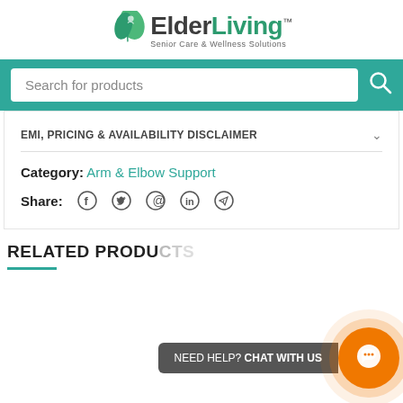[Figure (logo): ElderLiving logo with green leaf icon and text 'ElderLiving Senior Care & Wellness Solutions']
Search for products
EMI, PRICING & AVAILABILITY DISCLAIMER
Category: Arm & Elbow Support
Share: [facebook] [twitter] [pinterest] [linkedin] [telegram]
RELATED PRODUCTS
NEED HELP? CHAT WITH US